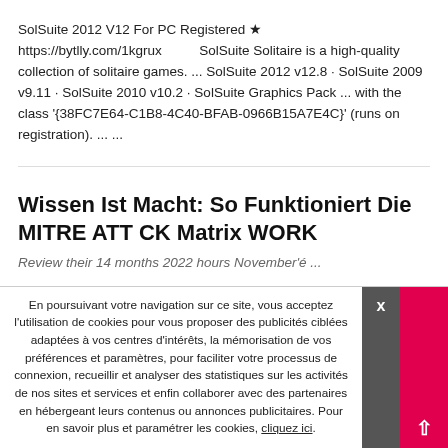SolSuite 2012 V12 For PC Registered ★ https://bytlly.com/1kgrux SolSuite Solitaire is a high-quality collection of solitaire games. ... SolSuite 2012 v12.8 · SolSuite 2009 v9.11 · SolSuite 2010 v10.2 · SolSuite Graphics Pack ... with the class '{38FC7E64-C1B8-4C40-BFAB-0966B15A7E4C}' (runs on registration). ... ...
Wissen Ist Macht: So Funktioniert Die MITRE ATT CK Matrix WORK
En poursuivant votre navigation sur ce site, vous acceptez l'utilisation de cookies pour vous proposer des publicités ciblées adaptées à vos centres d'intérêts, la mémorisation de vos préférences et paramètres, pour faciliter votre processus de connexion, recueillir et analyser des statistiques sur les activités de nos sites et services et enfin collaborer avec des partenaires en hébergeant leurs contenus ou annonces publicitaires. Pour en savoir plus et paramétrer les cookies, cliquez ici.